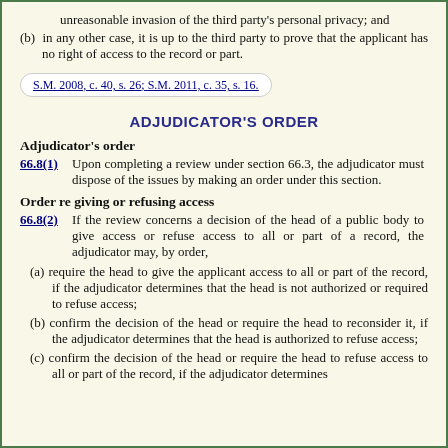unreasonable invasion of the third party's personal privacy; and
(b) in any other case, it is up to the third party to prove that the applicant has no right of access to the record or part.
S.M. 2008, c. 40, s. 26; S.M. 2011, c. 35, s. 16.
ADJUDICATOR'S ORDER
Adjudicator's order
66.8(1)   Upon completing a review under section 66.3, the adjudicator must dispose of the issues by making an order under this section.
Order re giving or refusing access
66.8(2)   If the review concerns a decision of the head of a public body to give access or refuse access to all or part of a record, the adjudicator may, by order,
(a) require the head to give the applicant access to all or part of the record, if the adjudicator determines that the head is not authorized or required to refuse access;
(b) confirm the decision of the head or require the head to reconsider it, if the adjudicator determines that the head is authorized to refuse access;
(c) confirm the decision of the head or require the head to refuse access to all or part of the record, if the adjudicator determines